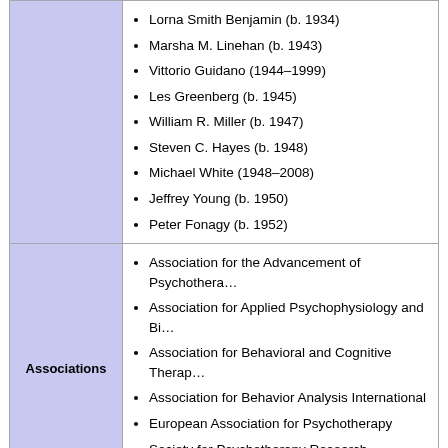Lorna Smith Benjamin (b. 1934)
Marsha M. Linehan (b. 1943)
Vittorio Guidano (1944–1999)
Les Greenberg (b. 1945)
William R. Miller (b. 1947)
Steven C. Hayes (b. 1948)
Michael White (1948–2008)
Jeffrey Young (b. 1950)
Peter Fonagy (b. 1952)
Associations
Association for the Advancement of Psychotherapy
Association for Applied Psychophysiology and Biofeedback
Association for Behavioral and Cognitive Therapies
Association for Behavior Analysis International
European Association for Psychotherapy
Society for Psychotherapy Research
World Council for Psychotherapy